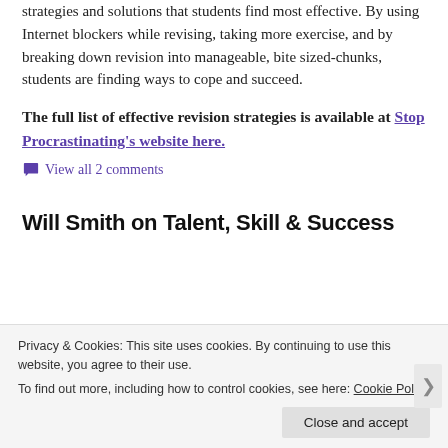strategies and solutions that students find most effective. By using Internet blockers while revising, taking more exercise, and by breaking down revision into manageable, bite sized-chunks, students are finding ways to cope and succeed.
The full list of effective revision strategies is available at Stop Procrastinating's website here.
View all 2 comments
Will Smith on Talent, Skill & Success
Privacy & Cookies: This site uses cookies. By continuing to use this website, you agree to their use. To find out more, including how to control cookies, see here: Cookie Policy